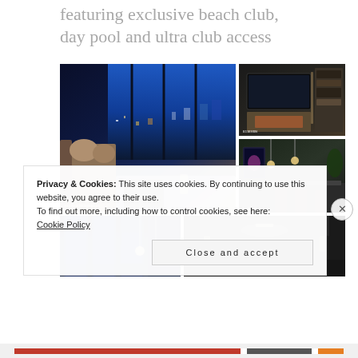featuring exclusive beach club, day pool and ultra club access
[Figure (photo): Large luxury apartment interior at night with city skyline view through floor-to-ceiling windows, sofa and coffee table in foreground. E11EVEN Hotel & Residences Miami logo in corner.]
[Figure (photo): Modern living room interior with large wall-mounted TV and illuminated shelving unit.]
[Figure (photo): Modern kitchen/bar area with dark cabinetry, plants, and digital display panel.]
[Figure (photo): Interior room with blue-tinted floor-to-ceiling windows at night with pendant lighting.]
[Figure (photo): Hotel corridor or entrance area with curved ceiling and modern lighting.]
Privacy & Cookies: This site uses cookies. By continuing to use this website, you agree to their use.
To find out more, including how to control cookies, see here:
Cookie Policy
Close and accept